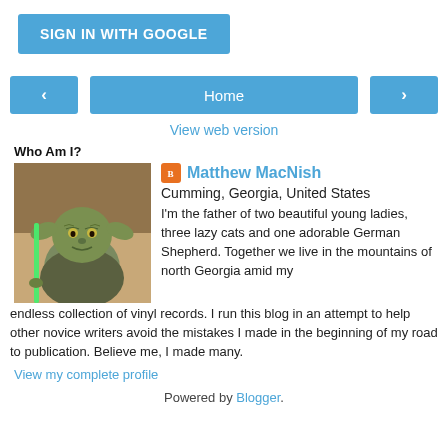SIGN IN WITH GOOGLE
< Home >
View web version
Who Am I?
[Figure (photo): Profile photo of Yoda from Star Wars holding a green lightsaber]
Matthew MacNish
Cumming, Georgia, United States
I'm the father of two beautiful young ladies, three lazy cats and one adorable German Shepherd. Together we live in the mountains of north Georgia amid my endless collection of vinyl records. I run this blog in an attempt to help other novice writers avoid the mistakes I made in the beginning of my road to publication. Believe me, I made many.
View my complete profile
Powered by Blogger.